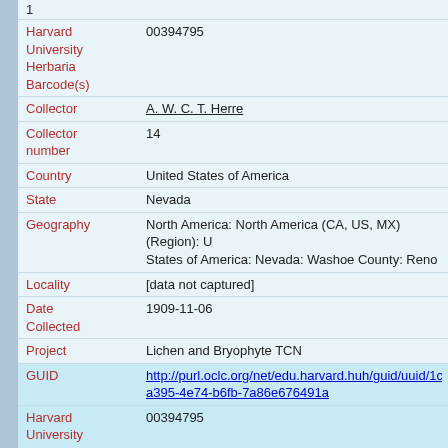1
| Field | Value |
| --- | --- |
| Harvard University Herbaria Barcode(s) | 00394795 |
| Collector | A. W. C. T. Herre |
| Collector number | 14 |
| Country | United States of America |
| State | Nevada |
| Geography | North America: North America (CA, US, MX) (Region): United States of America: Nevada: Washoe County: Reno |
| Locality | [data not captured] |
| Date Collected | 1909-11-06 |
| Project | Lichen and Bryophyte TCN |
| GUID | http://purl.oclc.org/net/edu.harvard.huh/guid/uuid/1c1-a395-4e74-b6fb-7a86e676491a |
| Harvard University Herbaria Barcode | 00394795 |
| Herbarium | FH |